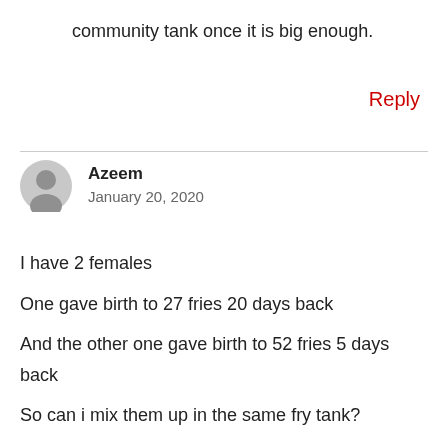community tank once it is big enough.
Reply
Azeem
January 20, 2020
I have 2 females
One gave birth to 27 fries 20 days back
And the other one gave birth to 52 fries 5 days back
So can i mix them up in the same fry tank?
And can i add adult males into it?